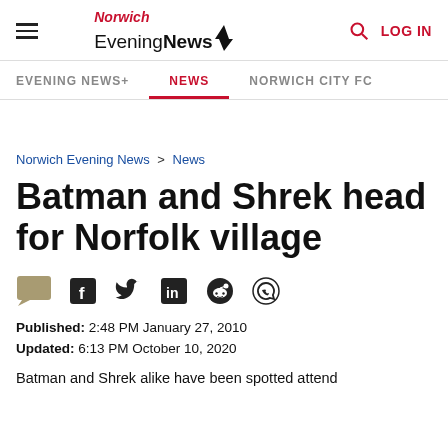Norwich Evening News — LOG IN
EVENING NEWS+ | NEWS | NORWICH CITY FC
Norwich Evening News > News
Batman and Shrek head for Norfolk village
[Figure (other): Social sharing icons: comment, Facebook, Twitter, LinkedIn, Reddit, WhatsApp]
Published: 2:48 PM January 27, 2010
Updated: 6:13 PM October 10, 2020
Batman and Shrek alike have been spotted attend...